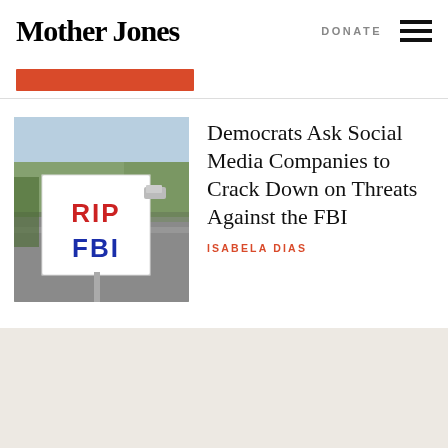Mother Jones
DONATE
[Figure (photo): A hand-written sign on a street that reads 'RIP FBI' in red and blue marker, with a road and trees in the background.]
Democrats Ask Social Media Companies to Crack Down on Threats Against the FBI
ISABELA DIAS